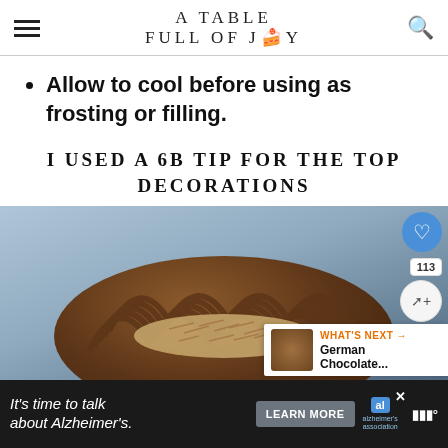A TABLE FULL OF JOY
Allow to cool before using as frosting or filling.
I USED A 6B TIP FOR THE TOP DECORATIONS
[Figure (photo): A chocolate cake decorated with piped chocolate frosting and coconut filling, viewed from above on a blue textured background, with a heart button overlay, share count of 113, and a 'What's Next: German Chocolate...' panel.]
It's time to talk about Alzheimer's. LEARN MORE